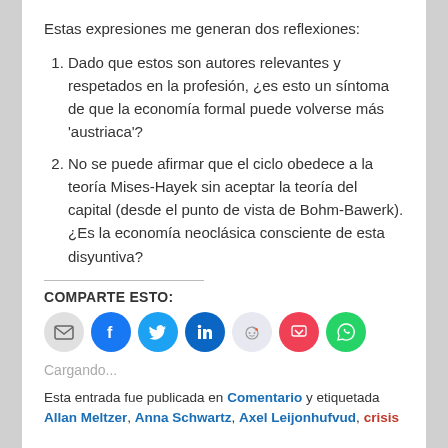Estas expresiones me generan dos reflexiones:
Dado que estos son autores relevantes y respetados en la profesión, ¿es esto un síntoma de que la economía formal puede volverse más 'austriaca'?
No se puede afirmar que el ciclo obedece a la teoría Mises-Hayek sin aceptar la teoría del capital (desde el punto de vista de Bohm-Bawerk). ¿Es la economía neoclásica consciente de esta disyuntiva?
COMPARTE ESTO:
[Figure (infographic): Row of social media share icons: email (grey), Facebook (blue), Twitter (blue), LinkedIn (dark blue), Reddit (light grey), Pocket (red), WhatsApp (green)]
Cargando...
Esta entrada fue publicada en Comentario y etiquetada Allan Meltzer, Anna Schwartz, Axel Leijonhufvud, crisis financiera, ...